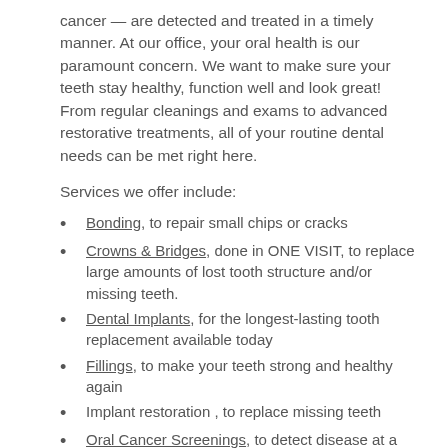cancer — are detected and treated in a timely manner. At our office, your oral health is our paramount concern. We want to make sure your teeth stay healthy, function well and look great! From regular cleanings and exams to advanced restorative treatments, all of your routine dental needs can be met right here.
Services we offer include:
Bonding, to repair small chips or cracks
Crowns & Bridges, done in ONE VISIT, to replace large amounts of lost tooth structure and/or missing teeth.
Dental Implants, for the longest-lasting tooth replacement available today
Fillings, to make your teeth strong and healthy again
Implant restoration, to replace missing teeth
Oral Cancer Screenings, to detect disease at a curable stage